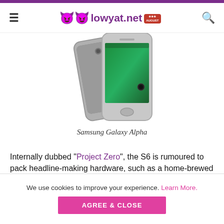lowyat.net
[Figure (photo): Two Samsung Galaxy Alpha smartphones shown from back and front angles, silver/metal design with green wallpaper on screen]
Samsung Galaxy Alpha
Internally dubbed "Project Zero", the S6 is rumoured to pack headline-making hardware, such as a home-brewed Exynos 7420 octa-core processor, a 2K display, a new touch-based (instead of swipe) fingerprint scanner, and a 20MP rear camera. While the body is said to feature a
We use cookies to improve your experience. Learn More.
AGREE & CLOSE